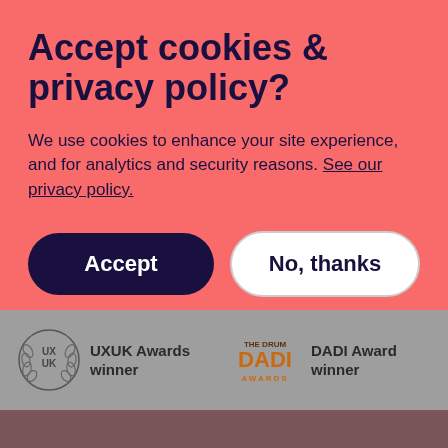Accept cookies & privacy policy?
We use cookies to enhance your site experience, and for analytics and security reasons. See our privacy policy.
Accept
No, thanks
[Figure (logo): UXUK Awards badge — circular laurel wreath with UX UK text]
UXUK Awards winner
[Figure (logo): The Drum DADI Awards logo in orange and brown]
DADI Award winner